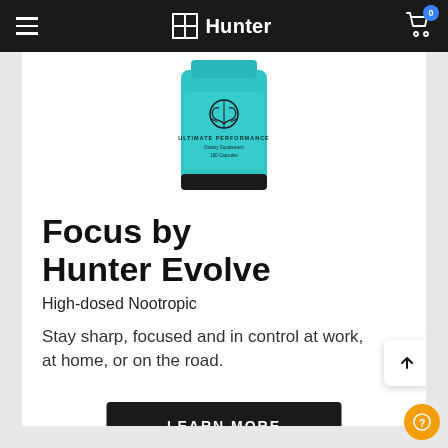Hunter
[Figure (photo): Teal/cyan supplement bottle labeled ULTIMATE PERFORMANCE, dietary supplement, 180 capsules, with a minimalist brain icon on the label]
Focus by Hunter Evolve
High-dosed Nootropic
Stay sharp, focused and in control at work, at home, or on the road.
LEARN MORE